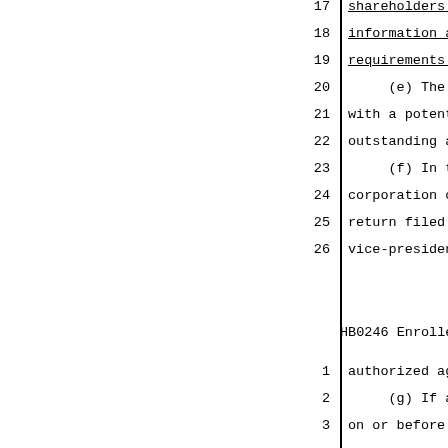17  shareholders in a publicly held
18  information as part of the Depa
19  requirements shall satisfy this
20      (e) The Department shall de
21  with a potential buyer of a fac
22  outstanding assessments and pen
23      (f) In the case of a long-t
24  corporation or legal entity oth
25  return filed by it shall be sig
26  vice-president, secretary, or t
HB0246 Enrolled          - 30
1   authorized agent.
2       (g) If a long-term care pro
3   on or before the due date of th
4   waived by the Illinois Departme
5   added to the assessment imposed
6   assessment equal to 25% of the